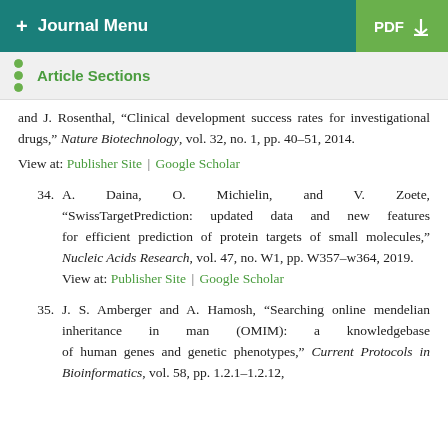+ Journal Menu | PDF
Article Sections
and J. Rosenthal, “Clinical development success rates for investigational drugs,” Nature Biotechnology, vol. 32, no. 1, pp. 40–51, 2014.
View at: Publisher Site | Google Scholar
34. A. Daina, O. Michielin, and V. Zoete, “SwissTargetPrediction: updated data and new features for efficient prediction of protein targets of small molecules,” Nucleic Acids Research, vol. 47, no. W1, pp. W357–w364, 2019.
View at: Publisher Site | Google Scholar
35. J. S. Amberger and A. Hamosh, “Searching online mendelian inheritance in man (OMIM): a knowledgebase of human genes and genetic phenotypes,” Current Protocols in Bioinformatics, vol. 58, pp. 1.2.1–1.2.12,